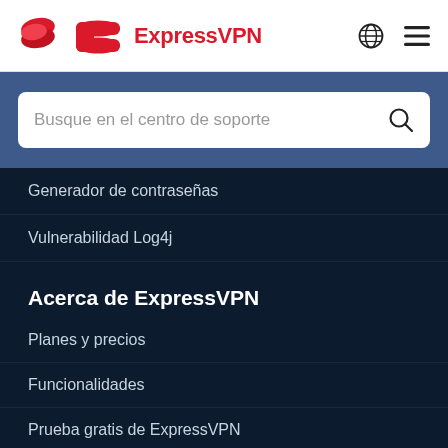ExpressVPN
[Figure (screenshot): Search bar with placeholder text 'Busque en el centro de soporte' on a blue background]
Generador de contraseñas
Vulnerabilidad Log4j
Acerca de ExpressVPN
Planes y precios
Funcionalidades
Prueba gratis de ExpressVPN
Opiniones de ExpressVPN
Prensa